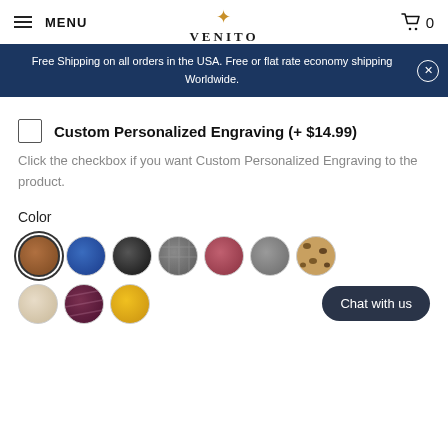MENU  VENITO  0
Free Shipping on all orders in the USA. Free or flat rate economy shipping Worldwide.
Custom Personalized Engraving (+ $14.99)
Click the checkbox if you want Custom Personalized Engraving to the product.
Color
[Figure (illustration): Ten color swatches arranged in two rows: brown (selected), blue, black, gray-texture, mauve, gray-speckled, leopard-print, beige, dark-maroon-texture, yellow]
Chat with us